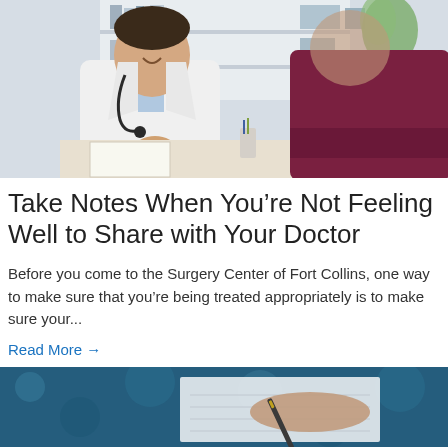[Figure (photo): Doctor in white coat with stethoscope sitting at desk writing notes, smiling, with a patient in a dark red/maroon sweater sitting across from him. Bright, clinical office setting with shelves in background.]
Take Notes When You're Not Feeling Well to Share with Your Doctor
Before you come to the Surgery Center of Fort Collins, one way to make sure that you're being treated appropriately is to make sure your...
Read More →
[Figure (photo): Close-up of a person's hand writing on paper with a pen, with a teal/blue patterned fabric or surface in the background.]